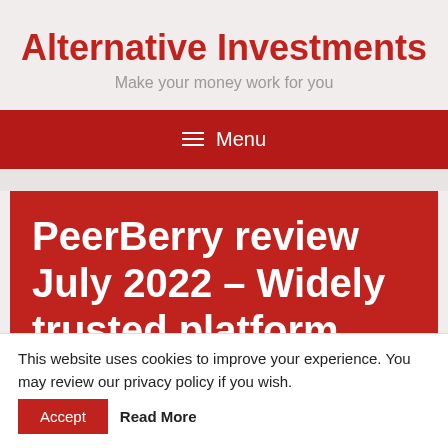Alternative Investments
Make your money work for you
≡ Menu
PeerBerry review July 2022 – Widely trusted platform, slightly
This website uses cookies to improve your experience. You may review our privacy policy if you wish. Accept Read More